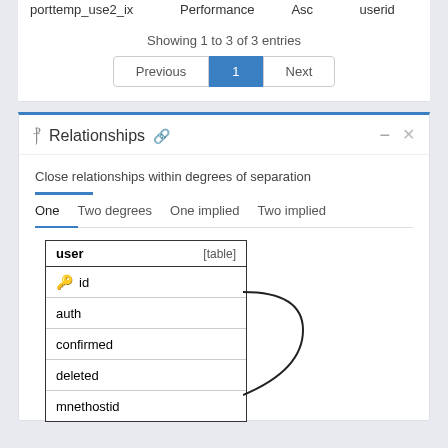| porttemp_use2_ix | Performance | Asc | userid |
Showing 1 to 3 of 3 entries
Previous  1  Next
Relationships
Close relationships within degrees of separation
One  Two degrees  One implied  Two implied
[Figure (engineering-diagram): Database table diagram showing 'user [table]' with columns: id (key icon), auth, confirmed, deleted, mnethostid, with a connector line going to the right]